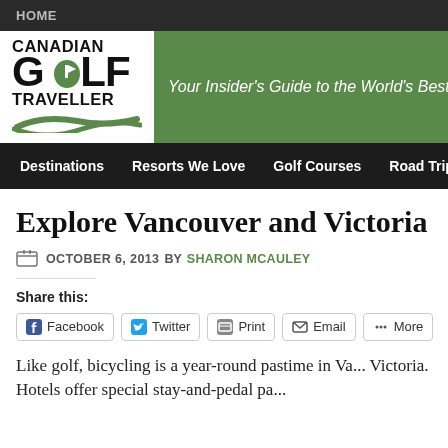HOME
[Figure (logo): Canadian Golf Traveller logo with green swoosh and flag on the 'O']
Your Insider's Guide to the World's Best G
Destinations  Resorts We Love  Golf Courses  Road Trips
Explore Vancouver and Victoria
OCTOBER 6, 2013 BY SHARON MCAULEY
Share this:
Facebook  Twitter  Print  Email  More
Like golf, bicycling is a year-round pastime in Va... Victoria. Hotels offer special stay-and-pedal pa...